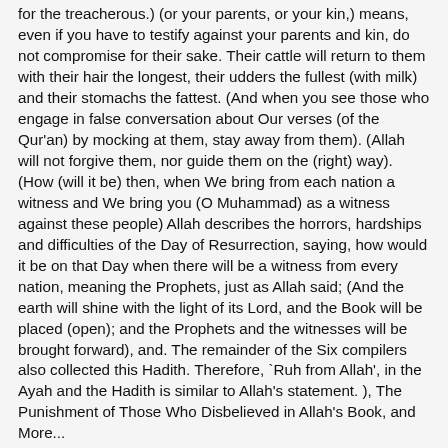for the treacherous.) (or your parents, or your kin,) means, even if you have to testify against your parents and kin, do not compromise for their sake. Their cattle will return to them with their hair the longest, their udders the fullest (with milk) and their stomachs the fattest. (And when you see those who engage in false conversation about Our verses (of the Qur'an) by mocking at them, stay away from them). (Allah will not forgive them, nor guide them on the (right) way). (How (will it be) then, when We bring from each nation a witness and We bring you (O Muhammad) as a witness against these people) Allah describes the horrors, hardships and difficulties of the Day of Resurrection, saying, how would it be on that Day when there will be a witness from every nation, meaning the Prophets, just as Allah said; (And the earth will shine with the light of its Lord, and the Book will be placed (open); and the Prophets and the witnesses will be brought forward), and. The remainder of the Six compilers also collected this Hadith. Therefore, `Ruh from Allah', in the Ayah and the Hadith is similar to Allah's statement. ), The Punishment of Those Who Disbelieved in Allah's Book, and More...